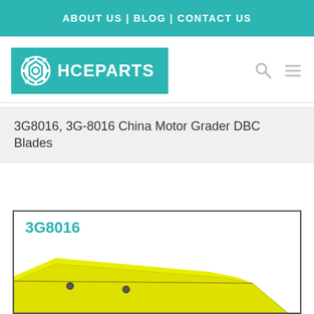ABOUT US | BLOG | CONTACT US
[Figure (logo): HCEPARTS logo with gear icon on teal background]
3G8016, 3G-8016 China Motor Grader DBC Blades
[Figure (photo): Product image of part 3G8016 - yellow motor grader DBC blade shown at an angle]